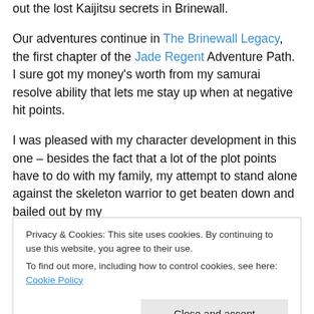out the lost Kaijitsu secrets in Brinewall.
Our adventures continue in The Brinewall Legacy, the first chapter of the Jade Regent Adventure Path. I sure got my money's worth from my samurai resolve ability that lets me stay up when at negative hit points.
I was pleased with my character development in this one – besides the fact that a lot of the plot points have to do with my family, my attempt to stand alone against the skeleton warrior to get beaten down and bailed out by my
Privacy & Cookies: This site uses cookies. By continuing to use this website, you agree to their use.
To find out more, including how to control cookies, see here: Cookie Policy
Close and accept
amusement. His attempts to explain to us what he's